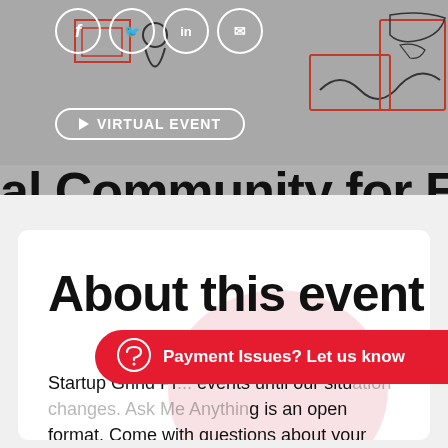[Figure (illustration): Banner with social media icons (Facebook, Twitter, LinkedIn, email), a Virtual Event pill button with play icon, illustration of a person at a computer with world map outline, and the partial title 'al Community for Entrepren']
About this event
Startup Grind Pro... events until our situation changes. Ask Me Anything is an open format. Come with questions about your business, your situation, the impact of the pandemic, or anything on your mind. Stay
[Figure (other): Red pill-shaped button overlay: Payment Issues? Let us know, with chat bubble icon]